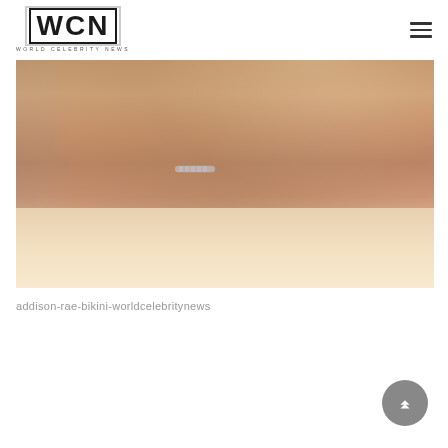WCN WORLD CELEBRITY NEWS
[Figure (photo): Person lying on a lounge chair by a pool, viewed from behind, wearing a beige bikini with tie straps and a silver chain bracelet on their wrist.]
addison-rae-bikini-worldcelebritynews